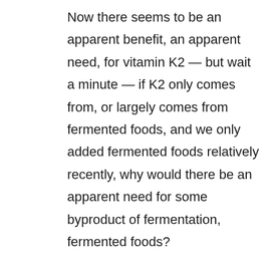Now there seems to be an apparent benefit, an apparent need, for vitamin K2 — but wait a minute — if K2 only comes from, or largely comes from fermented foods, and we only added fermented foods relatively recently, why would there be an apparent need for some byproduct of fermentation, fermented foods?
Well, the science is heading in this direction: that vitamin K2 is meant to come from the conversion of the vitamin K1 (which is related, but different), K1 from green vegetables, converted by bowel flora microbes in your colon, to K2. And now we're beginning to see the catalogue of species